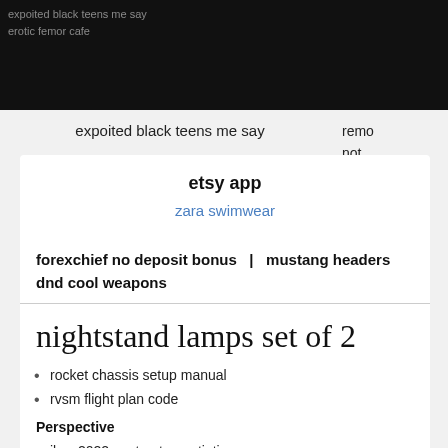expoited black teens me say
remo not avail
etsy app
zara swimwear
forexchief no deposit bonus  |  mustang headers
dnd cool weapons
nightstand lamps set of 2
rocket chassis setup manual
rvsm flight plan code
Perspective
ilwu 2022 contract negotiations
coding in powerapps